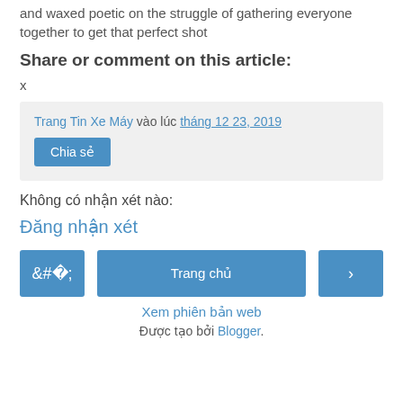and waxed poetic on the struggle of gathering everyone together to get that perfect shot
Share or comment on this article:
x
Trang Tin Xe Máy vào lúc tháng 12 23, 2019 [Chia sẻ button]
Không có nhận xét nào:
Đăng nhận xét
< [prev] | Trang chủ | > [next]
Xem phiên bản web
Được tạo bởi Blogger.